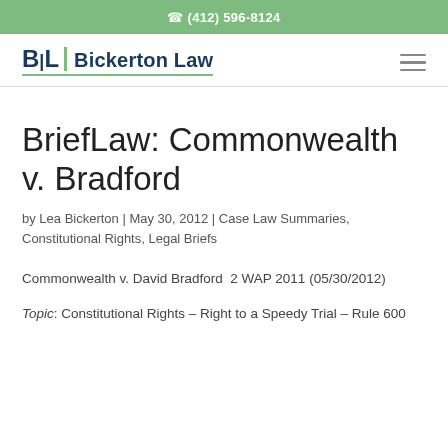(412) 596-8124
[Figure (logo): BL Bickerton Law firm logo with green accent underline and vertical bar divider]
BriefLaw: Commonwealth v. Bradford
by Lea Bickerton | May 30, 2012 | Case Law Summaries, Constitutional Rights, Legal Briefs
Commonwealth v. David Bradford  2 WAP 2011 (05/30/2012)
Topic: Constitutional Rights – Right to a Speedy Trial – Rule 600